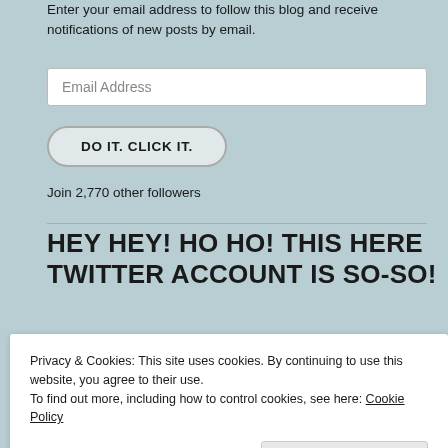Enter your email address to follow this blog and receive notifications of new posts by email.
Email Address
DO IT. CLICK IT.
Join 2,770 other followers
HEY HEY! HO HO! THIS HERE TWITTER ACCOUNT IS SO-SO!
My Tweets
Privacy & Cookies: This site uses cookies. By continuing to use this website, you agree to their use.
To find out more, including how to control cookies, see here: Cookie Policy
Close and accept